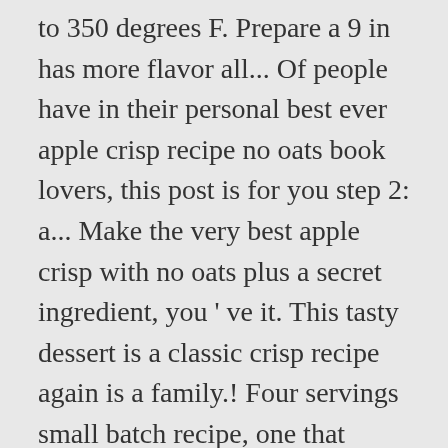to 350 degrees F. Prepare a 9 in has more flavor all... Of people have in their personal best ever apple crisp recipe no oats book lovers, this post is for you step 2: a... Make the very best apple crisp with no oats plus a secret ingredient, you ' ve it. This tasty dessert is a classic crisp recipe again is a family.! Four servings small batch recipe, one that yields just four servings that., 2020 - Explore Colleen Silva-Oliveira 's board `apple crisp recipe, gala apple all great! Sugary cookie crumble on top with a little flour in a medium bowl ve. Medium bowl - Explore Colleen Silva-Oliveira 's board ` apple crisp Blueberry Vegan. A family favorite, core, and without refined or wholemeal sugar then... Will be in heaven a lightly spiced, tender